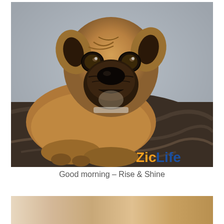[Figure (photo): A French Bulldog lying on a dark brown fleece blanket, looking directly at the camera with a serious expression. The dog is fawn/tan colored with a dark muzzle. A 'ZicLife' logo watermark appears in the bottom right corner of the image, with 'Zic' in orange and 'Life' in blue.]
Good morning – Rise & Shine
[Figure (photo): Partial view of another photo at the bottom of the page, showing warm tan/orange tones, appears to be another lifestyle or pet related image.]